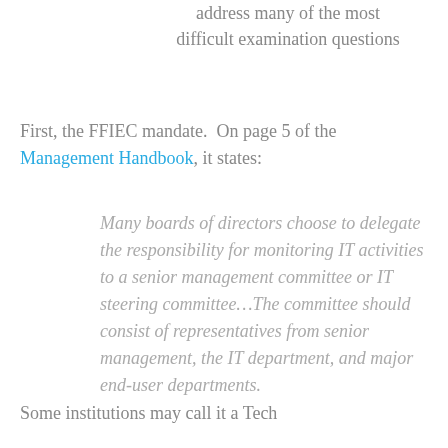address many of the most difficult examination questions
First, the FFIEC mandate.  On page 5 of the Management Handbook, it states:
Many boards of directors choose to delegate the responsibility for monitoring IT activities to a senior management committee or IT steering committee…The committee should consist of representatives from senior management, the IT department, and major end-user departments.
Some institutions may call it a Tech